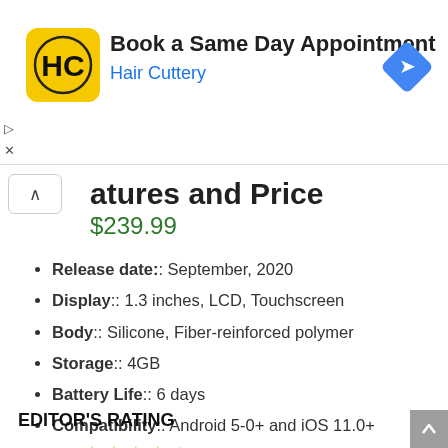[Figure (infographic): Advertisement banner for Hair Cuttery app showing logo icon, 'Book a Same Day Appointment' title, 'Hair Cuttery' subtitle in blue, and a blue navigation diamond icon on the right. Small play and close controls on the left edge.]
atures and Price
$239.99
Release date:: September, 2020
Display:: 1.3 inches, LCD, Touchscreen
Body:: Silicone, Fiber-reinforced polymer
Storage:: 4GB
Battery Life:: 6 days
Compatibility:: Android 5-0+ and iOS 11.0+
EDITOR'S RATING
Design: ★★★★★ (4.3 / 5)